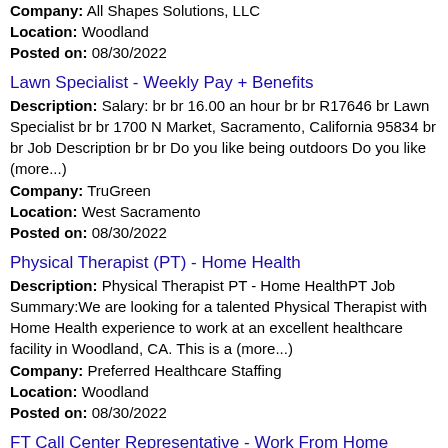Company: All Shapes Solutions, LLC
Location: Woodland
Posted on: 08/30/2022
Lawn Specialist - Weekly Pay + Benefits
Description: Salary: br br 16.00 an hour br br R17646 br Lawn Specialist br br 1700 N Market, Sacramento, California 95834 br br Job Description br br Do you like being outdoors Do you like (more...)
Company: TruGreen
Location: West Sacramento
Posted on: 08/30/2022
Physical Therapist (PT) - Home Health
Description: Physical Therapist PT - Home HealthPT Job Summary:We are looking for a talented Physical Therapist with Home Health experience to work at an excellent healthcare facility in Woodland, CA. This is a (more...)
Company: Preferred Healthcare Staffing
Location: Woodland
Posted on: 08/30/2022
FT Call Center Representative - Work From Home
Description: Customer Service / Remote - Anywhere in U.S. / Competitive pay and benefits package
Company: Pacific Health Solutions